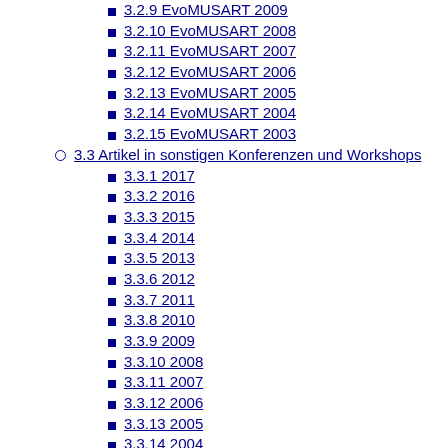3.2.9 EvoMUSART 2009
3.2.10 EvoMUSART 2008
3.2.11 EvoMUSART 2007
3.2.12 EvoMUSART 2006
3.2.13 EvoMUSART 2005
3.2.14 EvoMUSART 2004
3.2.15 EvoMUSART 2003
3.3 Artikel in sonstigen Konferenzen und Workshops
3.3.1 2017
3.3.2 2016
3.3.3 2015
3.3.4 2014
3.3.5 2013
3.3.6 2012
3.3.7 2011
3.3.8 2010
3.3.9 2009
3.3.10 2008
3.3.11 2007
3.3.12 2006
3.3.13 2005
3.3.14 2004
3.3.15 2003
3.3.16 2002
3.3.17 2001